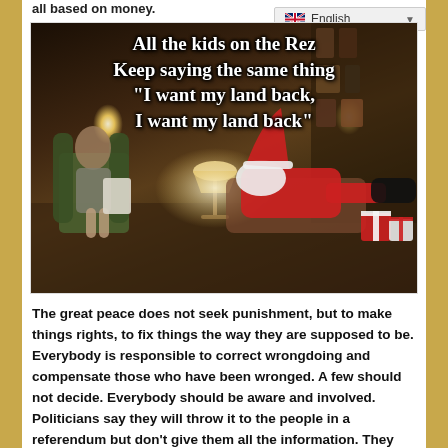all based on money.
[Figure (photo): A meme image showing Santa Claus lying on a therapist's couch while a woman (therapist) sits in a chair writing notes. The room has dim lighting with lamps. Text overlay reads: All the kids on the Rez Keep saying the same thing "I want my land back, I want my land back"]
The great peace does not seek punishment, but to make things rights, to fix things the way they are supposed to be. Everybody is responsible to correct wrongdoing and compensate those who have been wronged. A few should not decide. Everybody should be aware and involved. Politicians say they will throw it to the people in a referendum but don't give them all the information. They provide propaganda, rumor and gossip, even in the courtroom, to mislead the judge,